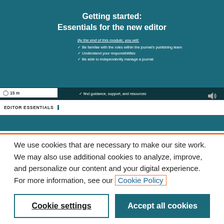[Figure (screenshot): Screenshot of an online learning module titled 'Getting started: Essentials for the new editor' on a teal background, showing module objectives, a 15-minute duration indicator, an 'EDITOR ESSENTIALS' label, and a sound icon.]
We use cookies that are necessary to make our site work. We may also use additional cookies to analyze, improve, and personalize our content and your digital experience. For more information, see our Cookie Policy
Cookie settings
Accept all cookies